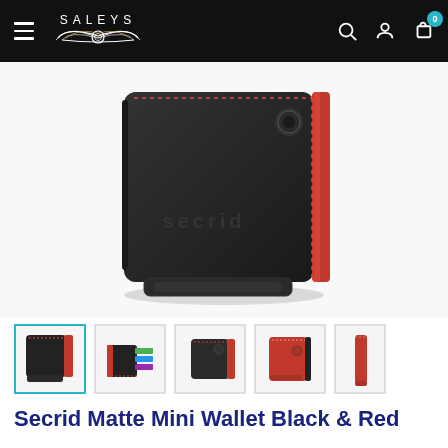SALEYS — navigation header with hamburger menu, logo, search, account, and cart icons
[Figure (photo): Close-up product photo of a Secrid Matte Mini Wallet in black with red accents and red stitching, showing the front and side of the wallet with a snap button closure]
[Figure (photo): Thumbnail strip showing 5 views of the Secrid Matte Mini Wallet Black & Red: front view (selected/active), side open view showing cards, top view, red front view, and thin side profile view]
Secrid Matte Mini Wallet Black & Red